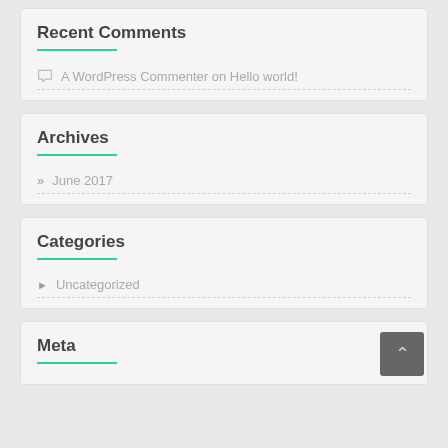Recent Comments
A WordPress Commenter on Hello world!
Archives
June 2017
Categories
Uncategorized
Meta